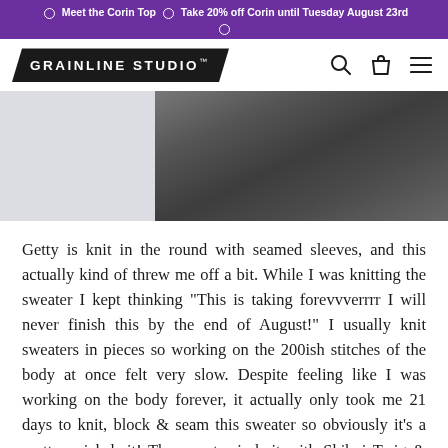☉ Meet the Corin Top ☉ Take 20% off Corin until Tuesday August 23rd ☉
[Figure (logo): Grainline Studio logo in black pentagon/arrow shape with white bold text, navigation icons (search, bag, menu) to the right]
[Figure (photo): Close-up photo of a dark grey knitted sweater fabric on a light grey/white background]
Getty is knit in the round with seamed sleeves, and this actually kind of threw me off a bit. While I was knitting the sweater I kept thinking "This is taking forevvverrrr I will never finish this by the end of August!" I usually knit sweaters in pieces so working on the 200ish stitches of the body at once felt very slow. Despite feeling like I was working on the body forever, it actually only took me 21 days to knit, block & seam this sweater so obviously it's a pretty quick knit! The sweater is knit with Shibui Twig & Cima held